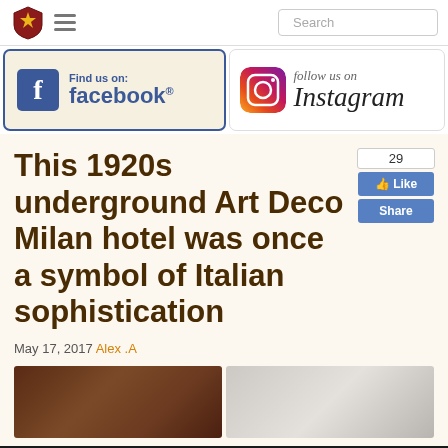Search
[Figure (logo): Find us on facebook banner with Facebook logo icon]
[Figure (logo): Follow us on Instagram banner with Instagram camera icon]
This 1920s underground Art Deco Milan hotel was once a symbol of Italian sophistication
May 17, 2017  Alex .A
[Figure (photo): Two side-by-side photos: left shows dark wood antique furniture detail, right shows white arched window architectural detail]
[Figure (infographic): Tally app advertisement banner: Fast credit card payoff, Download Now button]